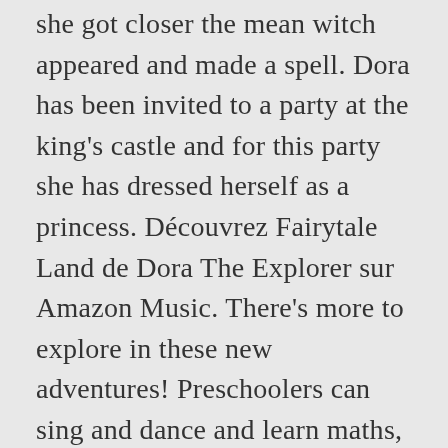she got closer the mean witch appeared and made a spell. Dora has been invited to a party at the king's castle and for this party she has dressed herself as a princess. Découvrez Fairytale Land de Dora The Explorer sur Amazon Music. There's more to explore in these new adventures! Preschoolers can sing and dance and learn maths, reading, Spanish words, and more as they help Dora on her adventures. Feel free to help Dora and friends by completing it by clicking on the edit button in this page. Dora the Explorer became a regular series in 2000. Dora Fairytale Fiesta Instructions and controls: Follow the story of Dora and Boots as they try to reach the castle that has been put on the clouds. 1 Cast 2